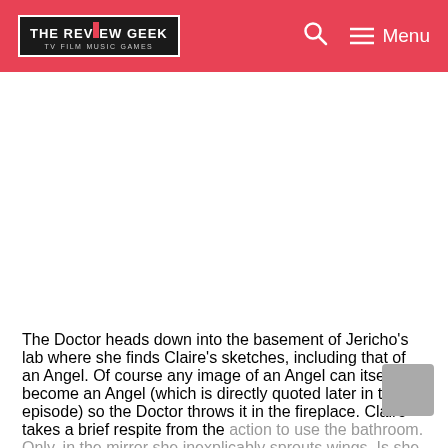THE REVIEW GEEK — TV FILM MUSIC GAMES | Search | Menu
The Doctor heads down into the basement of Jericho's lab where she finds Claire's sketches, including that of an Angel. Of course any image of an Angel can itself become an Angel (which is directly quoted later in the episode) so the Doctor throws it in the fireplace. Claire takes a brief respite from the action to use the bathroom. Only, in the mirror she inexplicably sprouts wings. Is she turning into a